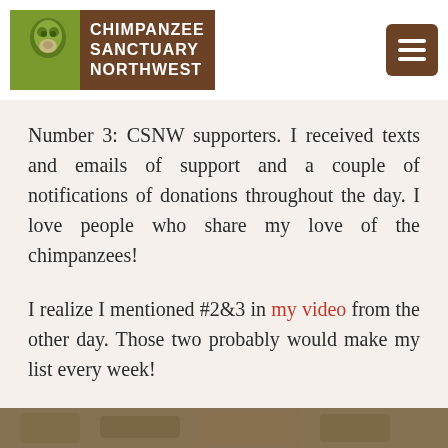Chimpanzee Sanctuary Northwest
Number 3: CSNW supporters. I received texts and emails of support and a couple of notifications of donations throughout the day. I love people who share my love of the chimpanzees!
I realize I mentioned #2&3 in my video from the other day. Those two probably would make my list every week!
Number 4: Burrito
[Figure (photo): Partial image strip at bottom of page, appears to show a chimpanzee or nature scene]